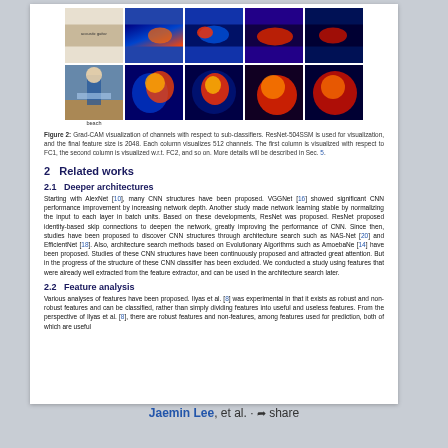[Figure (photo): Row of heatmap visualization images: a photo of a person holding a large fish ('beach') and four Grad-CAM heatmap overlays on the same image in various color gradients]
Figure 2: Grad-CAM visualization of channels with respect to sub-classifiers. ResNet-504SSM is used for visualization, and the final feature size is 2048. Each column visualizes 512 channels. The first column is visualized with respect to FC1, the second column is visualized w.r.t. FC2, and so on. More details will be described in Sec. 5.
2   Related works
2.1   Deeper architectures
Starting with AlexNet [10], many CNN structures have been proposed. VGGNet [16] showed significant CNN performance improvement by increasing network depth. Another study made network learning stable by normalizing the input to each layer in batch units. Based on these developments, ResNet was proposed. ResNet proposed identity-based skip connections to deepen the network, greatly improving the performance of CNN. Since then, studies have been proposed to discover CNN structures through architecture search such as NAS-Net [20] and EfficientNet [18]. Also, architecture search methods based on Evolutionary Algorithms such as AmoebaNe [14] have been proposed. Studies of these CNN structures have been continuously proposed and attracted great attention. But in the progress of the structure of these CNN classifier has been excluded. We conducted a study using features that were already well extracted from the feature extractor, and can be used in the architecture search later.
2.2   Feature analysis
Various analyses of features have been proposed. Ilyas et al. [8] was experimental in that it exists as robust and non-robust features and can be classified, rather than simply dividing features into useful and useless features. From the perspective of Ilyas et al. [8], there are robust features and non-features, among features used for prediction, both of which are useful
Jaemin Lee, et al. · share